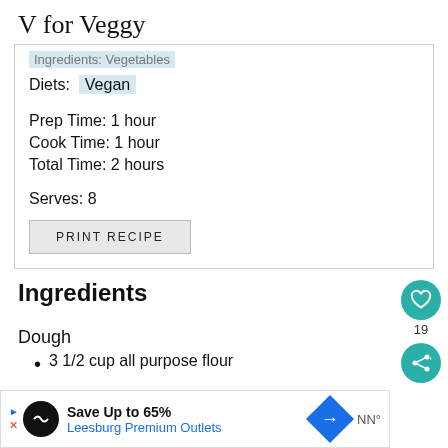V for Veggy
Ingredients: Vegetables
Diets: Vegan
Prep Time: 1 hour
Cook Time: 1 hour
Total Time: 2 hours
Serves: 8
PRINT RECIPE
Ingredients
Dough
3 1/2 cup all purpose flour
Save Up to 65% Leesburg Premium Outlets